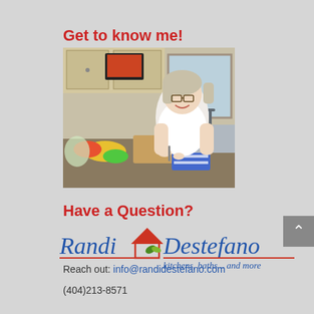Get to know me!
[Figure (photo): Woman smiling in a kitchen, cutting vegetables on a cutting board with produce visible on the counter.]
Have a Question?
[Figure (logo): Randi Destefano logo with house icon and leaf decoration, tagline: kitchens, baths... and more]
Reach out: info@randidestefano.com
(404)213-8571